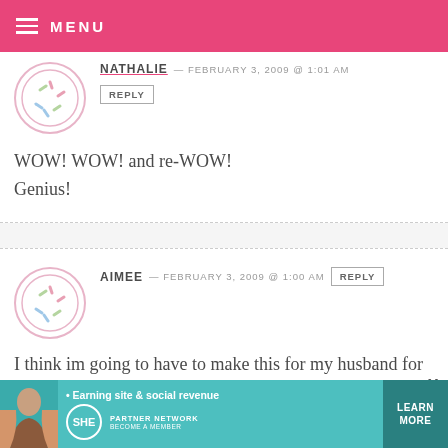MENU
NATHALIE — FEBRUARY 3, 2009 @ 1:01 AM
REPLY
WOW! WOW! and re-WOW! Genius!
AIMEE — FEBRUARY 3, 2009 @ 1:00 AM
REPLY
I think im going to have to make this for my husband for valentines! Red Velvet is his Favorite and he LOVED the red velvet cake balls. You come up with the most wonderful ideas!
[Figure (infographic): SHE Partner Network advertisement banner with photo of woman, tagline 'Earning site & social revenue', SHE logo, LEARN MORE button]